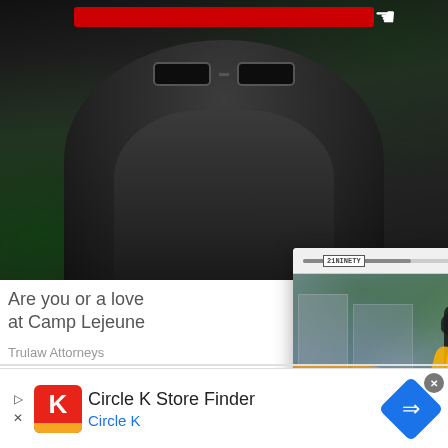[Figure (photo): Dark background image of a person wearing sunglasses and a cap, with green vine-like elements, and a red button at the top with a cursor hand icon]
Are you or a love
at Camp Lejeune
Trulaw Attorneys
[Figure (screenshot): Popup card overlay showing a woman in yellow top and black hat with green foliage background, arrow navigation button, 21Ninety logo, close and menu icons, with article title: Airport Fly: How To Keep Your Swag While Traveling – 21Ninety]
Airport Fly: How To Keep Your Swag While Traveling – 21Ninety
[Figure (infographic): Bottom advertisement banner for Circle K Store Finder showing Circle K logo in red, navigation diamond logo in blue, with text: Circle K Store Finder, Circle K. Play and close icons on left side, circular close button at top right.]
Circle K Store Finder
Circle K